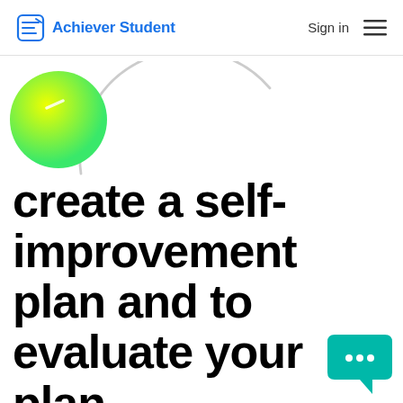Achiever Student | Sign in
[Figure (illustration): Yellow-green gradient circle decorative element with a small white diagonal highlight, and a large light gray arc outline in the background]
create a self-improvement plan and to evaluate your plan.
[Figure (illustration): Teal speech bubble chat icon with three white dots]